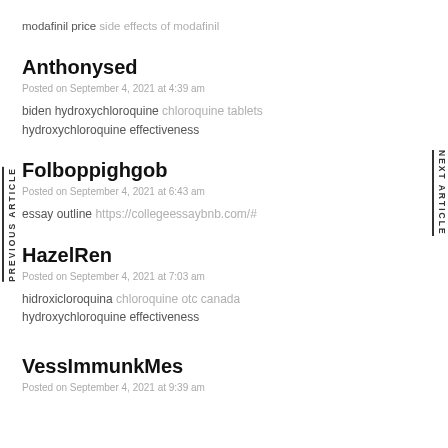modafinil price side effects of modafinil
Anthonysed
Posted on September 4, 2021 at 4:39 am
biden hydroxychloroquine chloroquine tablets hydroxychloroquine effectiveness
Folboppighgob
Posted on September 4, 2021 at 6:43 am
essay outline https://collegeessaybnb.com/#
HazelRen
Posted on September 4, 2021 at 7:03 am
hidroxicloroquina chloroquine otc canada hydroxychloroquine effectiveness
VessImmunkMes
Posted on September 4, 2021 at 9:39 am